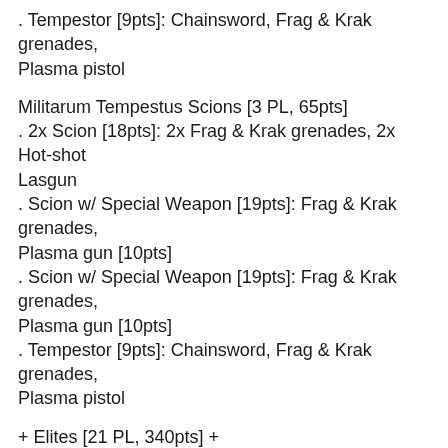. Tempestor [9pts]: Chainsword, Frag & Krak grenades, Plasma pistol
Militarum Tempestus Scions [3 PL, 65pts]
. 2x Scion [18pts]: 2x Frag & Krak grenades, 2x Hot-shot Lasgun
. Scion w/ Special Weapon [19pts]: Frag & Krak grenades, Plasma gun [10pts]
. Scion w/ Special Weapon [19pts]: Frag & Krak grenades, Plasma gun [10pts]
. Tempestor [9pts]: Chainsword, Frag & Krak grenades, Plasma pistol
+ Elites [21 PL, 340pts] +
Bullgryns [15 PL, 245pts]
. Bullgryn [35pts]: Bullgryn Maul, Frag Bombs, Slabshield
. Bullgryn [35pts]: Bullgryn Maul, Frag Bombs, Slabshield
. Bullgryn [35pts]: Bullgryn Maul, Frag Bombs, Slabshield
. Bullgryn [35pts]: Bullgryn Maul, Frag Bombs, Slabshield